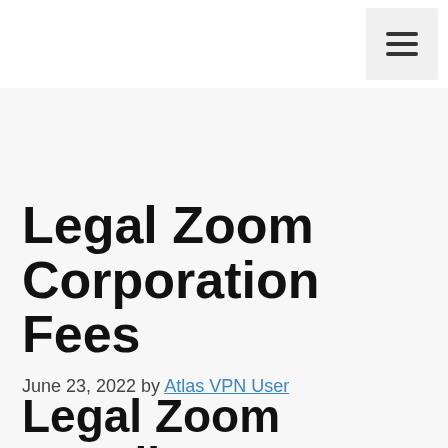≡
Legal Zoom Corporation Fees
June 23, 2022 by Atlas VPN User
Legal Zoom Upsells